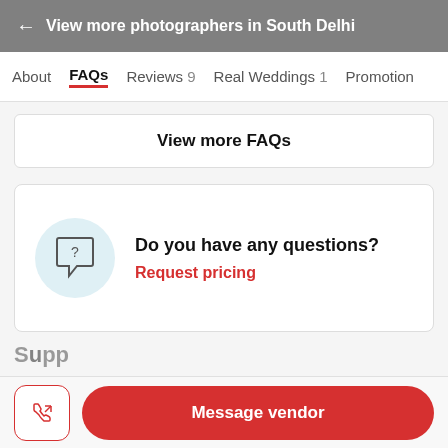← View more photographers in South Delhi
About  FAQs  Reviews 9  Real Weddings 1  Promotion
View more FAQs
Do you have any questions?
Request pricing
Message vendor